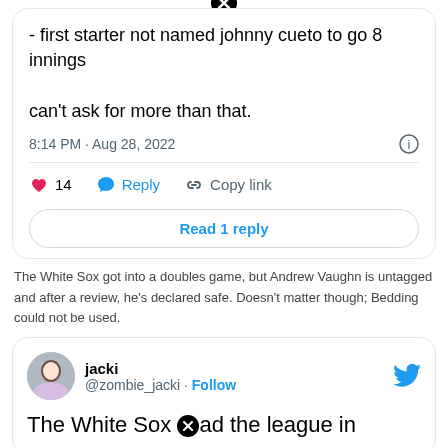- first starter not named johnny cueto to go 8 innings

can't ask for more than that.
8:14 PM · Aug 28, 2022
❤ 14  Reply  Copy link
Read 1 reply
The White Sox got into a doubles game, but Andrew Vaughn is untagged and after a review, he's declared safe. Doesn't matter though; Bedding could not be used.
jacki @zombie_jacki · Follow
The White Sox lead the league in